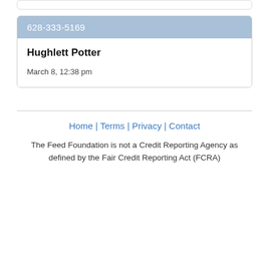628-333-5169
Hughlett Potter
March 8, 12:38 pm
Home | Terms | Privacy | Contact
The Feed Foundation is not a Credit Reporting Agency as defined by the Fair Credit Reporting Act (FCRA)